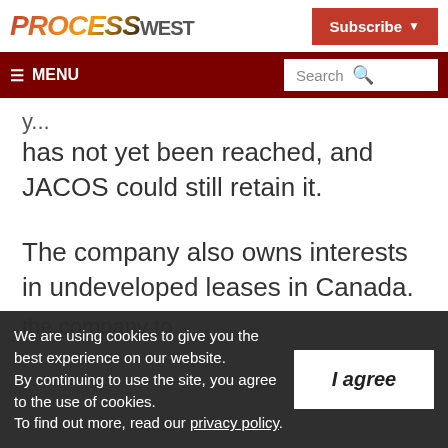PROCESS WEST | Subscribe
≡ MENU | Search
has not yet been reached, and JACOS could still retain it.
The company also owns interests in undeveloped leases in Canada.
We are using cookies to give you the best experience on our website. By continuing to use the site, you agree to the use of cookies. To find out more, read our privacy policy.